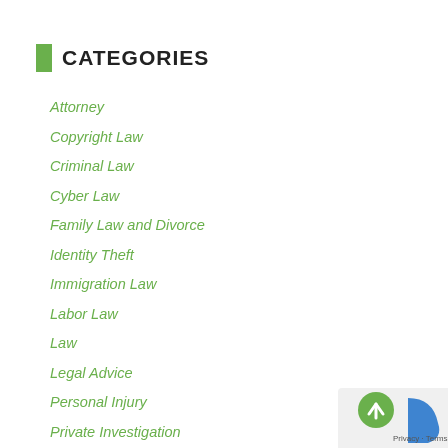CATEGORIES
Attorney
Copyright Law
Criminal Law
Cyber Law
Family Law and Divorce
Identity Theft
Immigration Law
Labor Law
Law
Legal Advice
Personal Injury
Private Investigation
Regulatory Compliance
Trademarks
Traffic Law